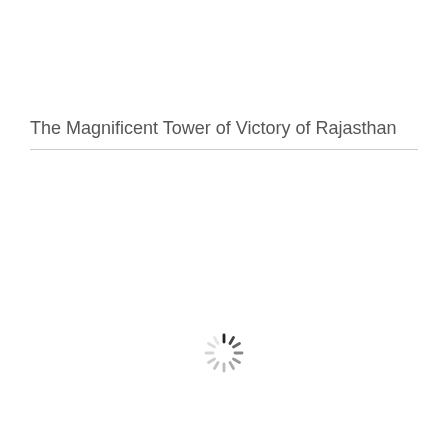The Magnificent Tower of Victory of Rajasthan
[Figure (other): Loading spinner icon — circular arrangement of short line segments in varying shades from dark to light gray, indicating a loading state]